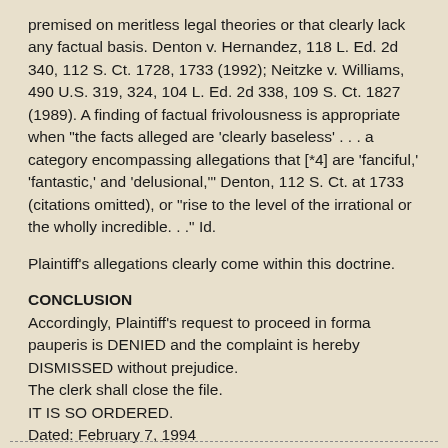premised on meritless legal theories or that clearly lack any factual basis. Denton v. Hernandez, 118 L. Ed. 2d 340, 112 S. Ct. 1728, 1733 (1992); Neitzke v. Williams, 490 U.S. 319, 324, 104 L. Ed. 2d 338, 109 S. Ct. 1827 (1989). A finding of factual frivolousness is appropriate when "the facts alleged are 'clearly baseless' . . . a category encompassing allegations that [*4] are 'fanciful,' 'fantastic,' and 'delusional,'" Denton, 112 S. Ct. at 1733 (citations omitted), or "rise to the level of the irrational or the wholly incredible. . ." Id.
Plaintiff's allegations clearly come within this doctrine.
CONCLUSION
Accordingly, Plaintiff's request to proceed in forma pauperis is DENIED and the complaint is hereby DISMISSED without prejudice.
The clerk shall close the file.
IT IS SO ORDERED.
Dated: February 7, 1994
CLAUDIA WILKEN
UNITED STATES DISTRICT JUDGE